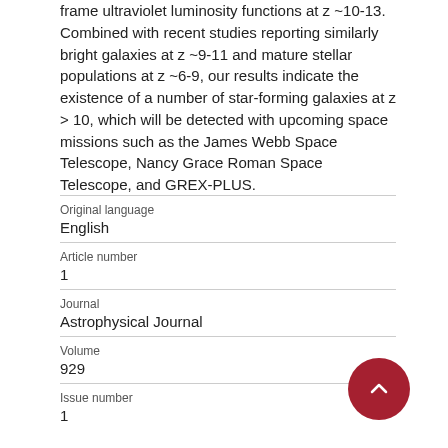frame ultraviolet luminosity functions at z ~10-13. Combined with recent studies reporting similarly bright galaxies at z ~9-11 and mature stellar populations at z ~6-9, our results indicate the existence of a number of star-forming galaxies at z > 10, which will be detected with upcoming space missions such as the James Webb Space Telescope, Nancy Grace Roman Space Telescope, and GREX-PLUS.
| Field | Value |
| --- | --- |
| Original language | English |
| Article number | 1 |
| Journal | Astrophysical Journal |
| Volume | 929 |
| Issue number | 1 |